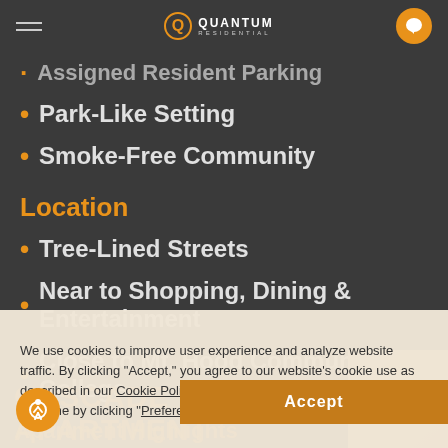Quantum Residential
Assigned Resident Parking
Park-Like Setting
Smoke-Free Community
Location
Tree-Lined Streets
Near to Shopping, Dining & Entertainment
Close to Mt. Hood Community College
We use cookies to improve user experience and analyze website traffic. By clicking “Accept,” you agree to our website’s cookie use as described in our Cookie Policy. You can change your cookie settings at any time by clicking “Preferences.”
CASCADE CREST | APARTMENT FEATURES
Apartment Highlights